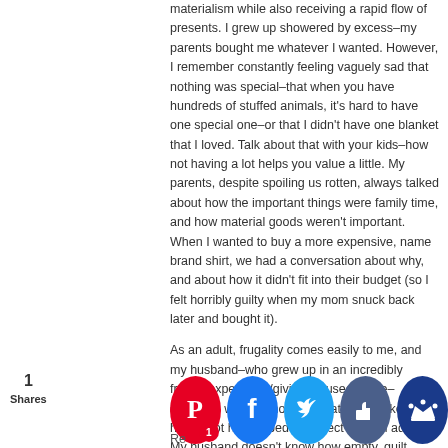materialism while also receiving a rapid flow of presents. I grew up showered by excess–my parents bought me whatever I wanted. However, I remember constantly feeling vaguely sad that nothing was special–that when you have hundreds of stuffed animals, it's hard to have one special one–or that I didn't have one blanket that I loved. Talk about that with your kids–how not having a lot helps you value a little. My parents, despite spoiling us rotten, always talked about how the important things were family time, and how material goods weren't important. When I wanted to buy a more expensive, name brand shirt, we had a conversation about why, and about how it didn't fit into their budget (so I felt horribly guilty when my mom snuck back later and bought it).

As an adult, frugality comes easily to me, and my husband–who grew up in an incredibly frugal, experience/giving focused home–struggles with it. Knowing what it feels like to have a lot has helped me reject it as an adult. My husband doesn't know how empty, guilt inducing and stressful it actually is, and so he fi...rder t...own s...oppor...
1 Shares